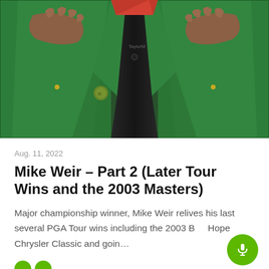[Figure (photo): A person wearing a green Masters Tournament jacket being fitted or arranged, with dark shirt underneath, red object at top, and another person's hands on shoulders]
Aug. 11, 2022
Mike Weir – Part 2 (Later Tour Wins and the 2003 Masters)
Major championship winner, Mike Weir relives his last several PGA Tour wins including the 2003 Bob Hope Chrysler Classic and goin…